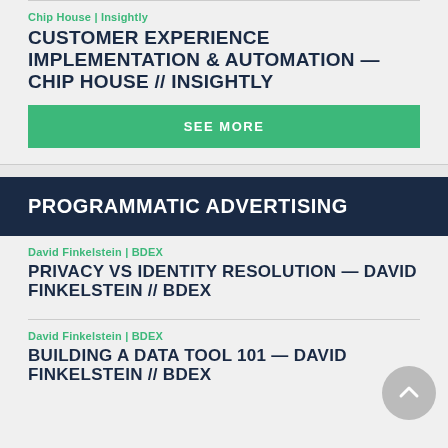DISABILITY VISIBILITY IN MARKETING
Chip House | Insightly
CUSTOMER EXPERIENCE IMPLEMENTATION & AUTOMATION — CHIP HOUSE // INSIGHTLY
SEE MORE
PROGRAMMATIC ADVERTISING
David Finkelstein | BDEX
PRIVACY VS IDENTITY RESOLUTION — DAVID FINKELSTEIN // BDEX
David Finkelstein | BDEX
BUILDING A DATA TOOL 101 — DAVID FINKELSTEIN // BDEX